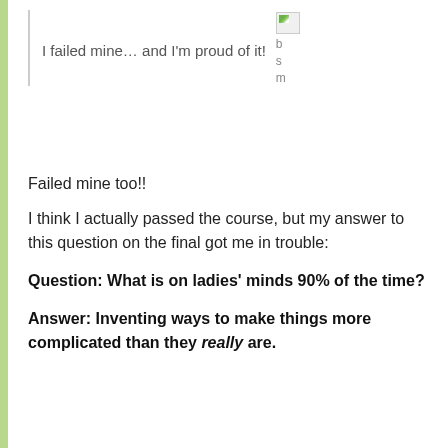I failed mine… and I'm proud of it!
Failed mine too!!
I think I actually passed the course, but my answer to this question on the final got me in trouble:
Question: What is on ladies' minds 90% of the time?
Answer: Inventing ways to make things more complicated than they really are.